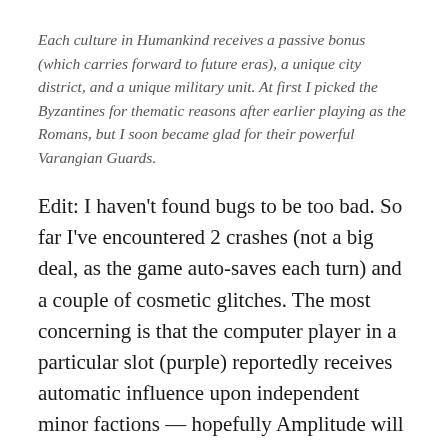Each culture in Humankind receives a passive bonus (which carries forward to future eras), a unique city district, and a unique military unit. At first I picked the Byzantines for thematic reasons after earlier playing as the Romans, but I soon became glad for their powerful Varangian Guards.
Edit: I haven't found bugs to be too bad. So far I've encountered 2 crashes (not a big deal, as the game auto-saves each turn) and a couple of cosmetic glitches. The most concerning is that the computer player in a particular slot (purple) reportedly receives automatic influence upon independent minor factions — hopefully Amplitude will address this soon.
A final point is that the art lives up to Amplitude's typical high standard. Special